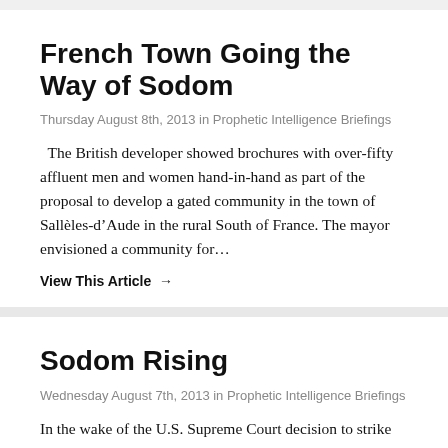French Town Going the Way of Sodom
Thursday August 8th, 2013 in Prophetic Intelligence Briefings
The British developer showed brochures with over-fifty affluent men and women hand-in-hand as part of the proposal to develop a gated community in the town of Sallèles-d’Aude in the rural South of France. The mayor envisioned a community for…
View This Article →
Sodom Rising
Wednesday August 7th, 2013 in Prophetic Intelligence Briefings
In the wake of the U.S. Supreme Court decision to strike